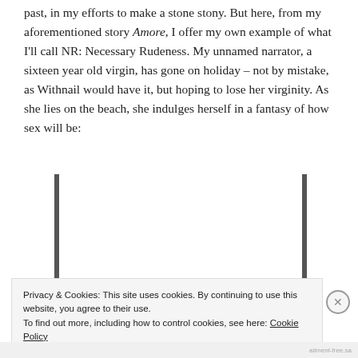past, in my efforts to make a stone stony. But here, from my aforementioned story Amore, I offer my own example of what I'll call NR: Necessary Rudeness. My unnamed narrator, a sixteen year old virgin, has gone on holiday – not by mistake, as Withnail would have it, but hoping to lose her virginity. As she lies on the beach, she indulges herself in a fantasy of how sex will be:
[Figure (screenshot): Black background advertisement banner with partially visible italic text at top in grey, large white italic text 'lately?' and a red 'Start reading' button]
Privacy & Cookies: This site uses cookies. By continuing to use this website, you agree to their use.
To find out more, including how to control cookies, see here: Cookie Policy
Close and accept